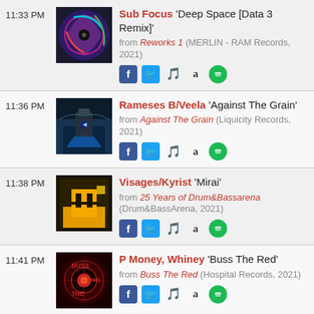11:33 PM — Sub Focus 'Deep Space [Data 3 Remix]' from Reworks 1 (MERLIN - RAM Records, 2021)
11:36 PM — Rameses B/Veela 'Against The Grain' from Against The Grain (Liquicity Records, 2021)
11:38 PM — Visages/Kyrist 'Mirai' from 25 Years of Drum&Bassarena (Drum&BassArena, 2021)
11:41 PM — P Money, Whiney 'Buss The Red' from Buss The Red (Hospital Records, 2021)